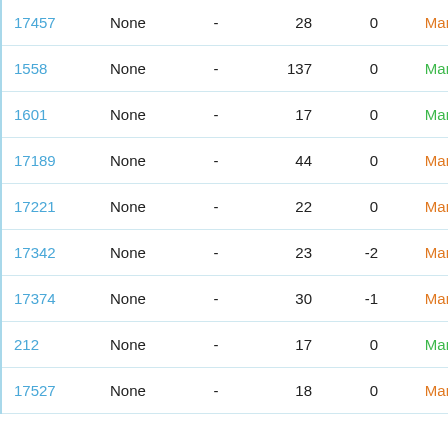| ID | Type | - | Col4 | Col5 | Status |
| --- | --- | --- | --- | --- | --- |
| 17457 | None | - | 28 | 0 | Manual |
| 1558 | None | - | 137 | 0 | Manual |
| 1601 | None | - | 17 | 0 | Manual |
| 17189 | None | - | 44 | 0 | Manual |
| 17221 | None | - | 22 | 0 | Manual |
| 17342 | None | - | 23 | -2 | Manual |
| 17374 | None | - | 30 | -1 | Manual |
| 212 | None | - | 17 | 0 | Manual |
| 17527 | None | - | 18 | 0 | Manual |